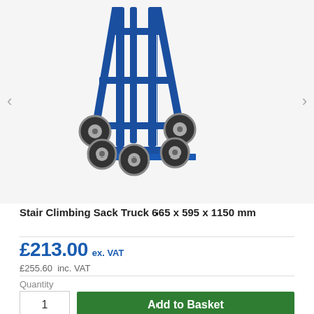[Figure (photo): Blue stair climbing sack truck with 6 wheels (3 pairs), metal frame, and flat base plate, shown on white background]
Stair Climbing Sack Truck 665 x 595 x 1150 mm
£213.00 ex. VAT
£255.60  inc. VAT
Quantity
1
Add to Basket